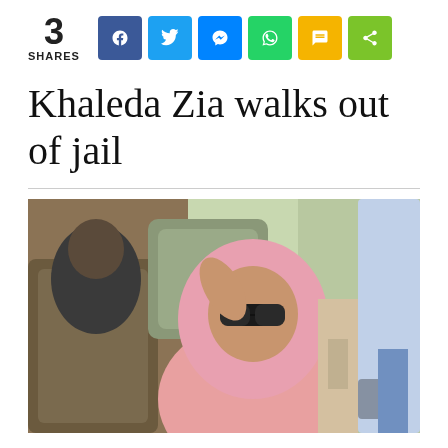3 SHARES — social share buttons: Facebook, Twitter, Messenger, WhatsApp, SMS, Share
Khaleda Zia walks out of jail
[Figure (photo): A woman wearing a pink hijab and large sunglasses sits in the back seat of a car, raising her hand. Another person is seated to her left. The car interior has beige leather seats.]